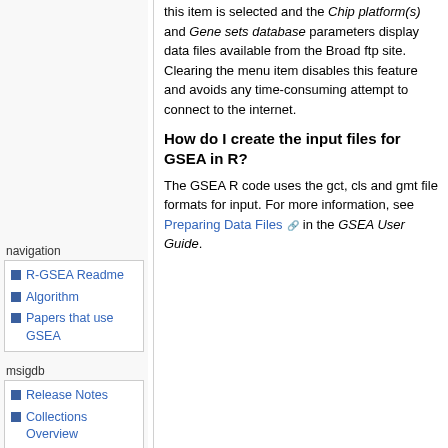this item is selected and the Chip platform(s) and Gene sets database parameters display data files available from the Broad ftp site. Clearing the menu item disables this feature and avoids any time-consuming attempt to connect to the internet.
How do I create the input files for GSEA in R?
The GSEA R code uses the gct, cls and gmt file formats for input. For more information, see Preparing Data Files in the GSEA User Guide.
navigation
R-GSEA Readme
Algorithm
Papers that use GSEA
msigdb
Release Notes
Collections Overview
Summary Stats